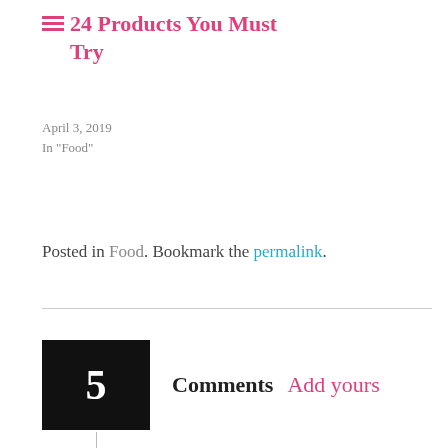24 Products You Must Try
April 3, 2019
In "Food"
Posted in Food. Bookmark the permalink.
5 Comments  Add yours
Becca on June 12, 2019 at 9:46 pm
Reply   ★ Like
Thanks for that great post — I am